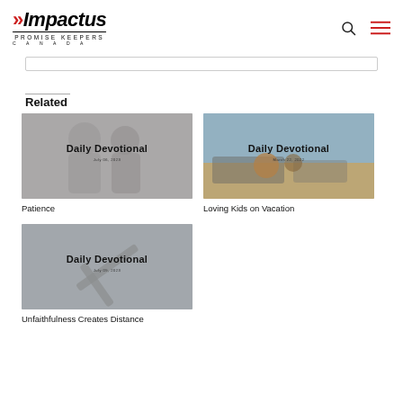Impactus Promise Keepers Canada
Related
[Figure (illustration): Daily Devotional card thumbnail with two people in background, text 'Daily Devotional']
Patience
[Figure (illustration): Daily Devotional card thumbnail with sunglasses/vacation scene, text 'Daily Devotional']
Loving Kids on Vacation
[Figure (illustration): Daily Devotional card thumbnail with airplane cross graphic, text 'Daily Devotional']
Unfaithfulness Creates Distance